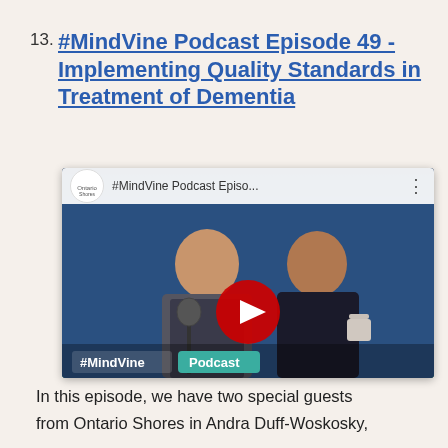13. #MindVine Podcast Episode 49 - Implementing Quality Standards in Treatment of Dementia
[Figure (screenshot): YouTube video thumbnail for #MindVine Podcast Episode 49 showing two women smiling at a podcast studio with microphones. The thumbnail shows the Ontario Shores logo, the video title '#MindVine Podcast Episo...', a red YouTube play button, and a '#MindVine Podcast' banner at the bottom.]
In this episode, we have two special guests from Ontario Shores in Andra Duff-Woskosky,